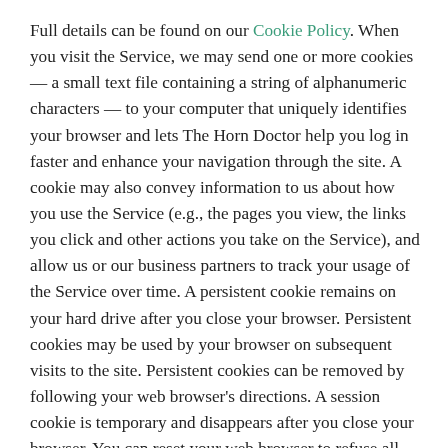Full details can be found on our Cookie Policy. When you visit the Service, we may send one or more cookies — a small text file containing a string of alphanumeric characters — to your computer that uniquely identifies your browser and lets The Horn Doctor help you log in faster and enhance your navigation through the site. A cookie may also convey information to us about how you use the Service (e.g., the pages you view, the links you click and other actions you take on the Service), and allow us or our business partners to track your usage of the Service over time. A persistent cookie remains on your hard drive after you close your browser. Persistent cookies may be used by your browser on subsequent visits to the site. Persistent cookies can be removed by following your web browser's directions. A session cookie is temporary and disappears after you close your browser. You can reset your web browser to refuse all cookies or to indicate when a cookie is being sent. However, some features of the Service may not function properly if the ability to accept cookies is disabled. Full details